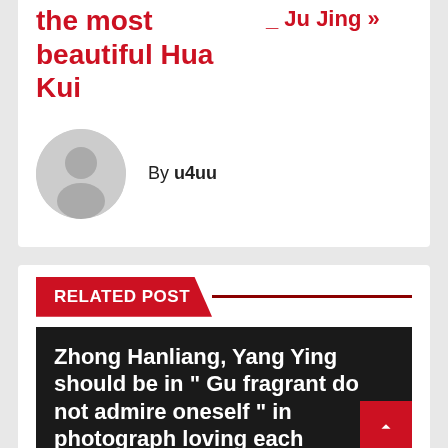the most beautiful Hua Kui
_ Ju Jing »
By u4uu
RELATED POST
Zhong Hanliang, Yang Ying should be in " Gu fragrant do not admire oneself " in photograph loving each